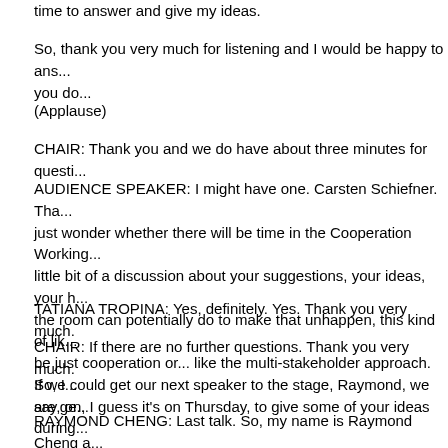time to answer and give my ideas.
So, thank you very much for listening and I would be happy to answer any questions you do...
(Applause)
CHAIR: Thank you and we do have about three minutes for questions.
AUDIENCE SPEAKER: I might have one. Carsten Schiefner. Thank you very much. I just wonder whether there will be time in the Cooperation Working... to have a little bit of a discussion about your suggestions, your ideas, your hopes, and what the room can potentially do to make that unhappen, this kind of like... would that be just cooperation or... like the multi-stakeholder approach. So, I was going to say, on, I guess it's on Thursday, to give some of your ideas during that session.
TATIANA TROPINA: Yes, definitely. Yes. Thank you very much.
CHAIR: If there are no further questions. Thank you very much.
If we could get our next speaker to the stage, Raymond, we are ge...
RAYMOND CHENG: Last talk. So, my name is Raymond Cheng and I'm here from Washington to tell you about a project that we have been working on. It's a proxy server that is packaged with a browser extension that you can... and work that we're doing with some individuals on this list, as well as...
So, let me just jump straight to the few things I want to you take away...